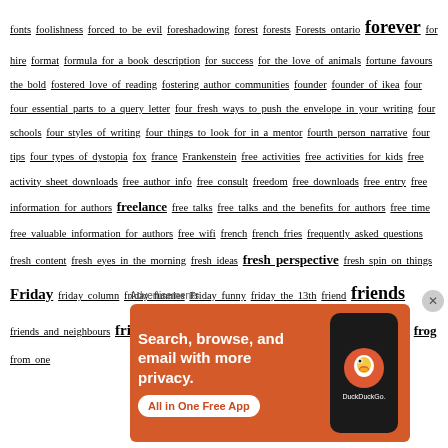fonts foolishness forced to be evil foreshadowing forest forests Forests ontario forever for hire format formula for a book description for success for the love of animals fortune favours the bold fostered love of reading fostering author communities founder founder of ikea four four essential parts to a query letter four fresh ways to push the envelope in your writing four schools four styles of writing four things to look for in a mentor fourth person narrative four tips four types of dystopia fox france Frankenstein free activities free activities for kids free activity sheet downloads free author info free consult freedom free downloads free entry free information for authors freelance free talks free talks and the benefits for authors free time free valuable information for authors free wifi french french fries frequently asked questions fresh content fresh eyes in the morning fresh ideas fresh perspective fresh spin on things Friday friday column friday funnies Friday funny friday the 13th friend friends friends and neighbours friendship friends in the industry friends with authors Friyay frog from one
[Figure (other): DuckDuckGo advertisement banner: orange background with text 'Search, browse, and email with more privacy. All in One Free App' and an image of a smartphone with the DuckDuckGo logo]